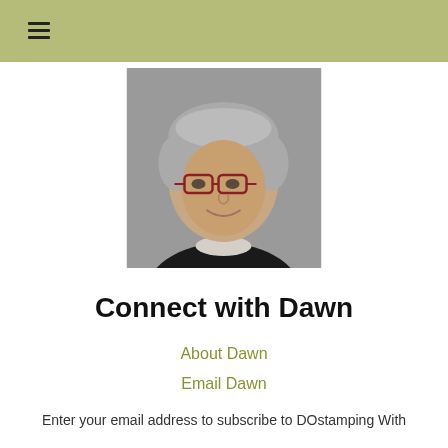≡
[Figure (photo): Headshot portrait of a middle-aged woman with short gray hair, glasses with red frames, wearing a black jacket, smiling, against a gray background.]
Connect with Dawn
About Dawn
Email Dawn
Enter your email address to subscribe to DOstamping With